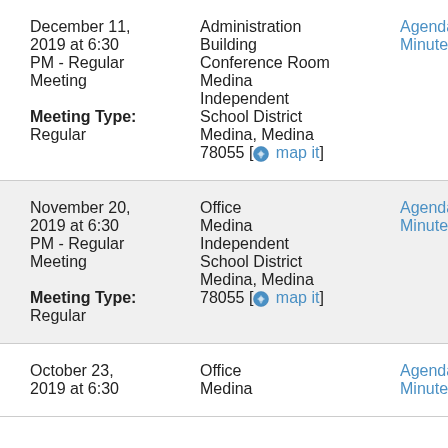December 11, 2019 at 6:30 PM - Regular Meeting
Meeting Type: Regular
Administration Building Conference Room Medina Independent School District Medina, Medina 78055 [map it]
Agenda
Minutes
November 20, 2019 at 6:30 PM - Regular Meeting
Meeting Type: Regular
Office Medina Independent School District Medina, Medina 78055 [map it]
Agenda
Minutes
October 23, 2019 at 6:30
Office Medina
Agenda
Minutes